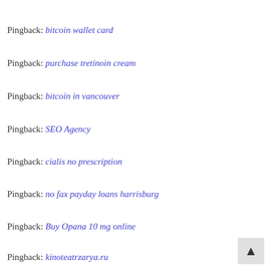Pingback: bitcoin wallet card
Pingback: purchase tretinoin cream
Pingback: bitcoin in vancouver
Pingback: SEO Agency
Pingback: cialis no prescription
Pingback: no fax payday loans harrisburg
Pingback: Buy Opana 10 mg online
Pingback: kinoteatrzarya.ru